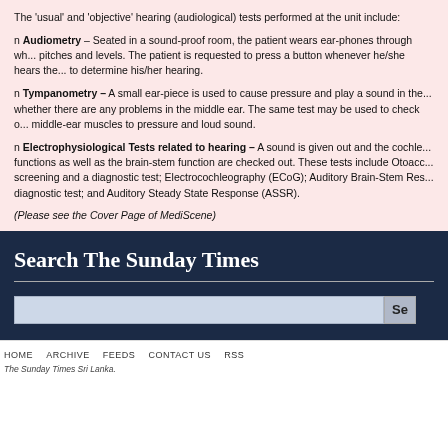The 'usual' and 'objective' hearing (audiological) tests performed at the unit include:
n Audiometry – Seated in a sound-proof room, the patient wears ear-phones through which sounds are given at different pitches and levels. The patient is requested to press a button whenever he/she hears the sound. This is to determine his/her hearing.
n Tympanometry – A small ear-piece is used to cause pressure and play a sound in the ear to determine whether there are any problems in the middle ear. The same test may be used to check on the response of the middle-ear muscles to pressure and loud sound.
n Electrophysiological Tests related to hearing – A sound is given out and the cochlear functions as well as the brain-stem function are checked out. These tests include Otoacoustic Emissions – a screening and a diagnostic test; Electrocochleography (ECoG); Auditory Brain-Stem Response (ABR) – a diagnostic test; and Auditory Steady State Response (ASSR).
(Please see the Cover Page of MediScene)
Search The Sunday Times
Se
HOME   ARCHIVE   FEEDS   CONTACT US   RSS
The Sunday Times Sri Lanka.